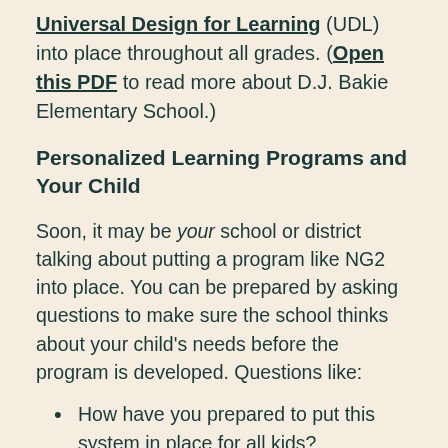Universal Design for Learning (UDL) into place throughout all grades. (Open this PDF to read more about D.J. Bakie Elementary School.)
Personalized Learning Programs and Your Child
Soon, it may be your school or district talking about putting a program like NG2 into place. You can be prepared by asking questions to make sure the school thinks about your child’s needs before the program is developed. Questions like:
How have you prepared to put this system in place for all kids?
What thought have you put into including